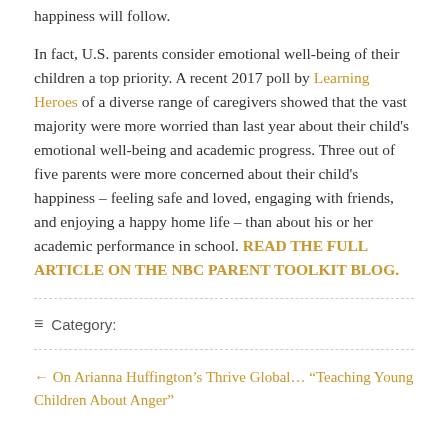happiness will follow.
In fact, U.S. parents consider emotional well-being of their children a top priority. A recent 2017 poll by Learning Heroes of a diverse range of caregivers showed that the vast majority were more worried than last year about their child's emotional well-being and academic progress. Three out of five parents were more concerned about their child's happiness – feeling safe and loved, engaging with friends, and enjoying a happy home life – than about his or her academic performance in school. READ THE FULL ARTICLE ON THE NBC PARENT TOOLKIT BLOG.
≡ Category:
← On Arianna Huffington's Thrive Global… "Teaching Young Children About Anger"